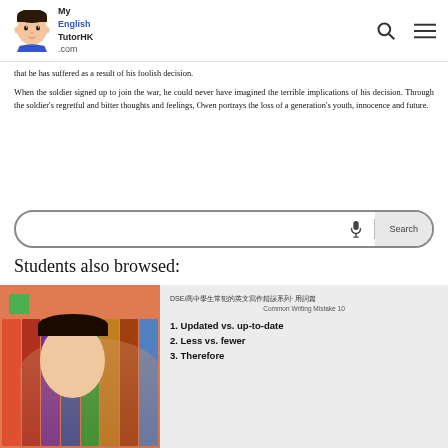[Figure (logo): MyEnglishTutorHK.com logo with cartoon face and navigation icons]
that he has suffered as a result of his foolish decision.
When the soldier signed up to join the war, he could never have imagined the terrible implications of his decision. Through the soldier's regretful and bitter thoughts and feelings, Owen portrays the loss of a generation's youth, innocence and future.
[Figure (other): Search bar with microphone icon and Search button]
Students also browsed:
[Figure (other): Card thumbnail for DSE/高中學生常犯的英文寫作錯誤系列 – 用詞篇 Common Writing Mistake 10, listing 1. Updated vs. up-to-date, 2. Less vs. fewer, 3. Therefore]